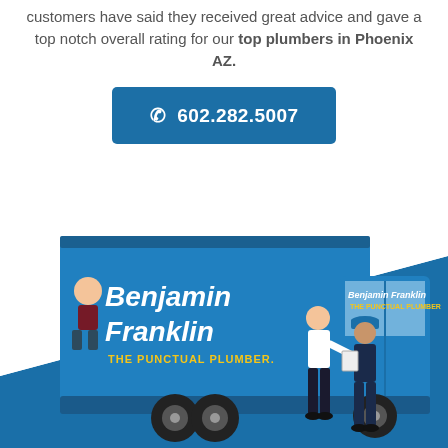customers have said they received great advice and gave a top notch overall rating for our top plumbers in Phoenix AZ.
[Figure (other): Blue call-to-action button with phone icon and number 602.282.5007]
[Figure (photo): Benjamin Franklin Plumbing branded blue box truck with two uniformed employees standing in front, on a blue diagonal background. The truck reads 'Benjamin Franklin THE PUNCTUAL PLUMBER.']